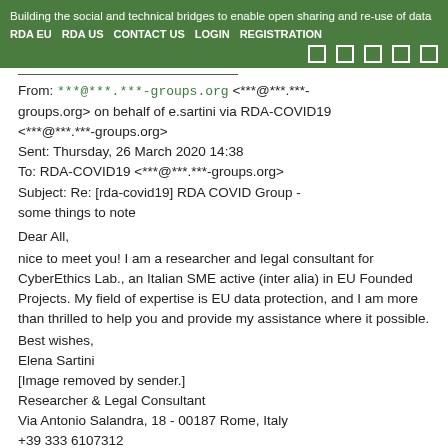Building the social and technical bridges to enable open sharing and re-use of data
RDA EU   RDA US   CONTACT US   LOGIN   REGISTRATION
From: ***@***.***-groups.org <***@***.***-groups.org> on behalf of e.sartini via RDA-COVID19 <***@***.***-groups.org>
Sent: Thursday, 26 March 2020 14:38
To: RDA-COVID19 <***@***.***-groups.org>
Subject: Re: [rda-covid19] RDA COVID Group - some things to note
Dear All,
nice to meet you! I am a researcher and legal consultant for CyberEthics Lab., an Italian SME active (inter alia) in EU Founded Projects. My field of expertise is EU data protection, and I am more than thrilled to help you and provide my assistance where it possible.
Best wishes,
Elena Sartini
[Image removed by sender.]
Researcher & Legal Consultant
Via Antonio Salandra, 18 - 00187 Rome, Italy
+39 333 6107312